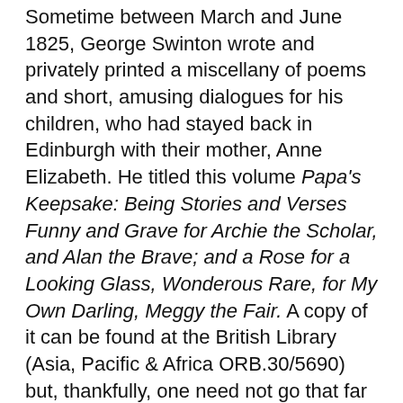Sometime between March and June 1825, George Swinton wrote and privately printed a miscellany of poems and short, amusing dialogues for his children, who had stayed back in Edinburgh with their mother, Anne Elizabeth. He titled this volume Papa's Keepsake: Being Stories and Verses Funny and Grave for Archie the Scholar, and Alan the Brave; and a Rose for a Looking Glass, Wonderous Rare, for My Own Darling, Meggy the Fair. A copy of it can be found at the British Library (Asia, Pacific & Africa ORB.30/5690) but, thankfully, one need not go that far to browse through this delightful book. It is in the public domain, available on Google Books, and comes with a charming handwritten note which says, “Written by my grandfather, George Swinton, B.C.S., sometime Secretary to Lord Amherst, Governor-General of India.”
The details of Sir Oran’s life can be found in two